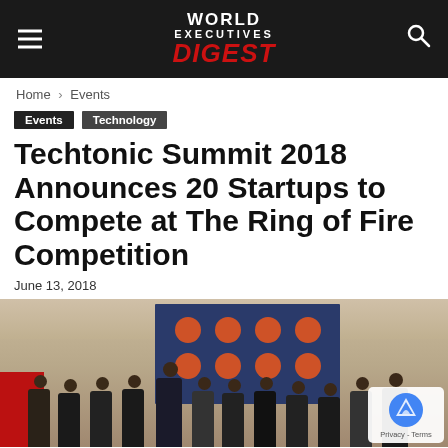World Executives Digest
Home › Events
Events  Technology
Techtonic Summit 2018 Announces 20 Startups to Compete at The Ring of Fire Competition
June 13, 2018
[Figure (photo): Group photo of approximately 15 people standing in front of a blue backdrop with orange/red circular cloud logos, taken at a conference or event venue. A red banner is visible on the left side.]